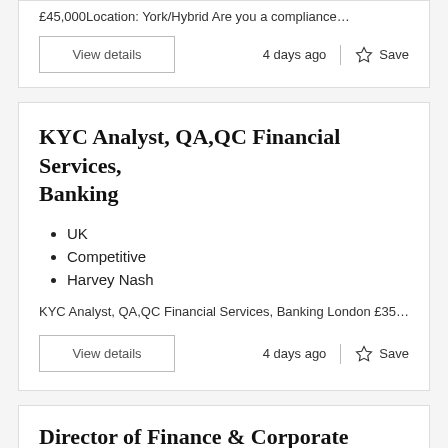£45,000Location: York/Hybrid Are you a compliance…
View details
4 days ago
Save
KYC Analyst, QA,QC Financial Services, Banking
UK
Competitive
Harvey Nash
KYC Analyst, QA,QC Financial Services, Banking London £350 - £400pd via Umbrella Company or PAYE . 6-9 Mon…
View details
4 days ago
Save
Director of Finance & Corporate Services